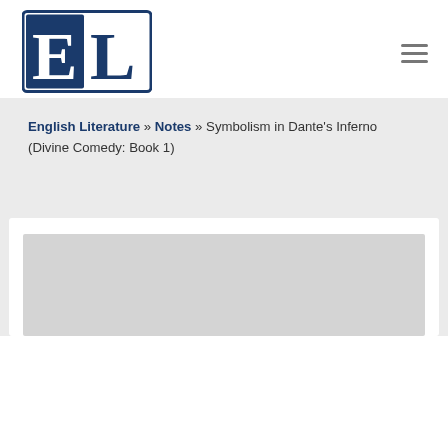[Figure (logo): English Literature (EL) logo — blue bordered square with stylized E and L letters in white and dark blue]
English Literature » Notes » Symbolism in Dante's Inferno (Divine Comedy: Book 1)
[Figure (photo): Gray placeholder image area]